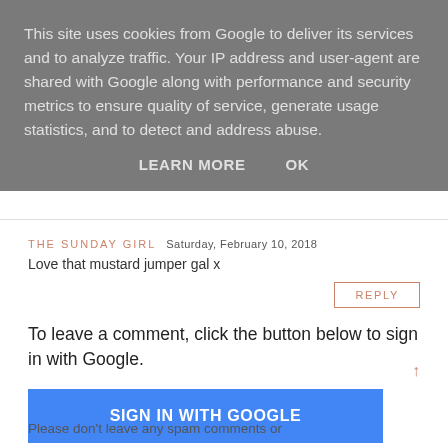This site uses cookies from Google to deliver its services and to analyze traffic. Your IP address and user-agent are shared with Google along with performance and security metrics to ensure quality of service, generate usage statistics, and to detect and address abuse.
LEARN MORE   OK
THE SUNDAY GIRL  Saturday, February 10, 2018
Love that mustard jumper gal x
REPLY
To leave a comment, click the button below to sign in with Google.
SIGN IN WITH GOOGLE
Please don't leave any spam comments or